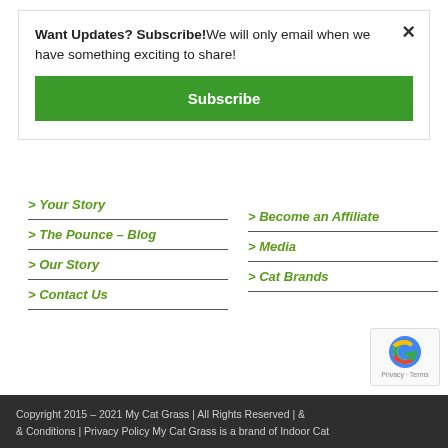Want Updates? Subscribe! We will only email when we have something exciting to share!
Subscribe
> Your Story
> The Pounce – Blog
> Our Story
> Contact Us
> Become an Affiliate
> Media
> Cat Brands
Copyright 2015 - 2021 My Cat Grass | All Rights Reserved | & Conditions | Privacy Policy My Cat Grass is a brand of Indoor Cat